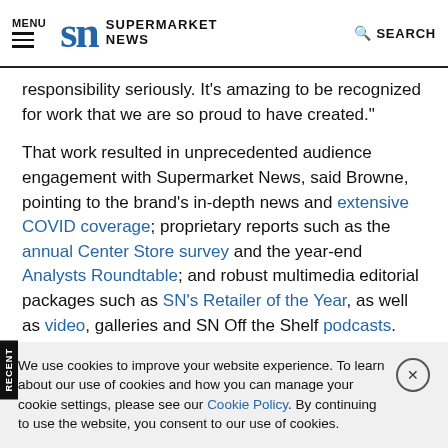MENU | SN SUPERMARKET NEWS | SEARCH
responsibility seriously. It’s amazing to be recognized for work that we are so proud to have created.”
That work resulted in unprecedented audience engagement with Supermarket News, said Browne, pointing to the brand’s in-depth news and extensive COVID coverage; proprietary reports such as the annual Center Store survey and the year-end Analysts Roundtable; and robust multimedia editorial packages such as SN’s Retailer of the Year, as well as video, galleries and SN Off the Shelf podcasts.
We use cookies to improve your website experience. To learn about our use of cookies and how you can manage your cookie settings, please see our Cookie Policy. By continuing to use the website, you consent to our use of cookies.